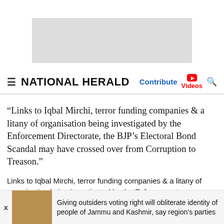[Figure (other): Advertisement banner placeholder, light gray rectangle]
NATIONAL HERALD | Contribute | Videos | Search
“Links to Iqbal Mirchi, terror funding companies & a litany of organisation being investigated by the Enforcement Directorate, the BJP’s Electoral Bond Scandal may have crossed over from Corruption to Treason.”
Links to Iqbal Mirchi, terror funding companies & a litany of organisation being investigated by the Enforcement Directorate, the BJP’s Electoral Bond Scandal may have crossed over from Corruption to Treason. #ModiBondOfCorruptionhttps://t.co/38ves0exmN — Congress (@INCIndia) November 22, 2019
Former director of BKW, Ranjeet Bindra, has been arrested
Giving outsiders voting right will obliterate identity of people of Jammu and Kashmir, say region’s parties